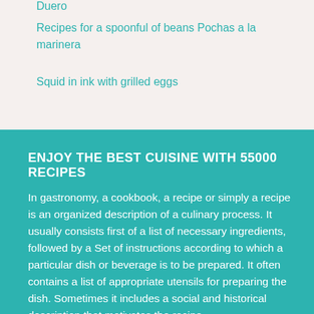Duero
Recipes for a spoonful of beans Pochas a la marinera
Squid in ink with grilled eggs
ENJOY THE BEST CUISINE WITH 55000 RECIPES
In gastronomy, a cookbook, a recipe or simply a recipe is an organized description of a culinary process. It usually consists first of a list of necessary ingredients, followed by a Set of instructions according to which a particular dish or beverage is to be prepared. It often contains a list of appropriate utensils for preparing the dish. Sometimes it includes a social and historical description that motivates the recipe.